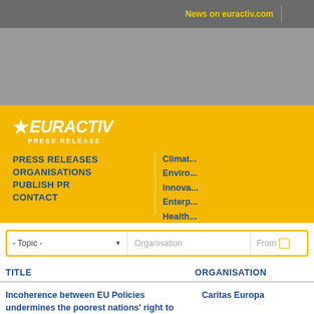News on euractiv.com
[Figure (logo): EURACTIV Press Release logo on yellow background with navigation links: PRESS RELEASES, ORGANISATIONS, PUBLISH PR, CONTACT, and topic links: Climate, Environment, Innovation, Enterprise, Health, Energy]
- Topic -
Organisation
From
TITLE
ORGANISATION
Incoherence between EU Policies undermines the poorest nations' right to development
Caritas Europa